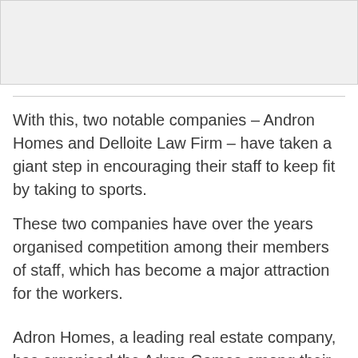[Figure (photo): Image placeholder at top of page]
With this, two notable companies – Andron Homes and Delloite Law Firm – have taken a giant step in encouraging their staff to keep fit by taking to sports.
These two companies have over the years organised competition among their members of staff, which has become a major attraction for the workers.
Adron Homes, a leading real estate company, has organised the Adron Games among their